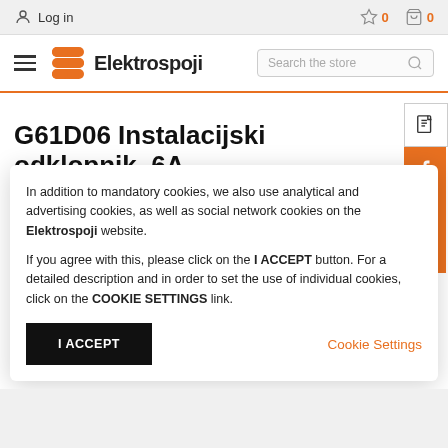Log in  ☆ 0  🛒 0
[Figure (logo): Elektrospoji logo with orange S-shape icon and bold text 'Elektrospoji']
G61D06 Instalacijski odklopnik, 6A , 6kA, 1p
In addition to mandatory cookies, we also use analytical and advertising cookies, as well as social network cookies on the Elektrospoji website.

If you agree with this, please click on the I ACCEPT button. For a detailed description and in order to set the use of individual cookies, click on the COOKIE SETTINGS link.
I ACCEPT
Cookie Settings